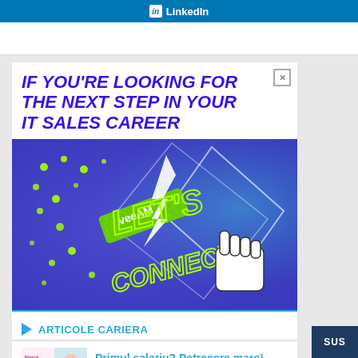LinkedIn
[Figure (illustration): Veeam advertisement banner: white top section with bold italic dark-blue/purple text 'IF YOU'RE LOOKING FOR THE NEXT STEP IN YOUR IT SALES CAREER' and a close (X) button. Below is a colorful purple/blue/teal speckled background image with Veeam logo, large green neon text 'LET'S CONNECT!!' with lightning bolt graphic and a pointing hand cursor icon.]
ARTICOLE CARIERA
[Figure (photo): Thumbnail showing a person at a desk; overlay with pink/magenta text 'Primul salariu? Petrecere mare!']
Primul salariu? Petrecere mare!